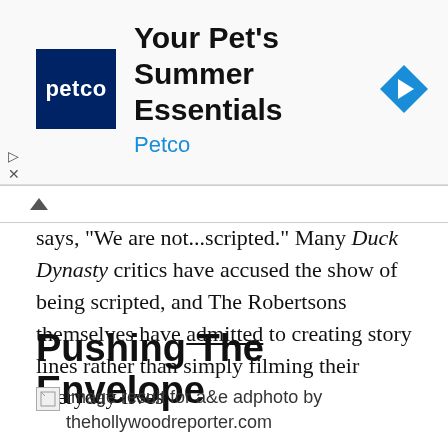[Figure (other): Petco advertisement banner with logo and navigation arrow icon. Headline: 'Your Pet's Summer Essentials', brand name: 'Petco']
says, “We are not…scripted.” Many Duck Dynasty critics have accused the show of being scripted, and The Robertsons themselves have admitted to creating story lines rather than simply filming their everyday lives.
Pushing The Envelope
[Figure (photo): Image result for a&e adphoto by thehollywoodreporter.com (broken image placeholder)]